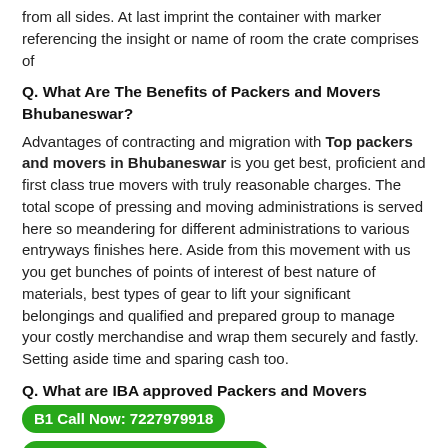from all sides. At last imprint the container with marker referencing the insight or name of room the crate comprises of
Q. What Are The Benefits of Packers and Movers Bhubaneswar?
Advantages of contracting and migration with Top packers and movers in Bhubaneswar is you get best, proficient and first class true movers with truly reasonable charges. The total scope of pressing and moving administrations is served here so meandering for different administrations to various entryways finishes here. Aside from this movement with us you get bunches of points of interest of best nature of materials, best types of gear to lift your significant belongings and qualified and prepared group to manage your costly merchandise and wrap them securely and fastly. Setting aside time and sparing cash too.
Q. What are IBA approved Packers and Movers
B1 Call Now: 7227979918
B1 Whatsapp Now: 7227979918
overs Bhubaneswar are verified moving companies providing relocation services in